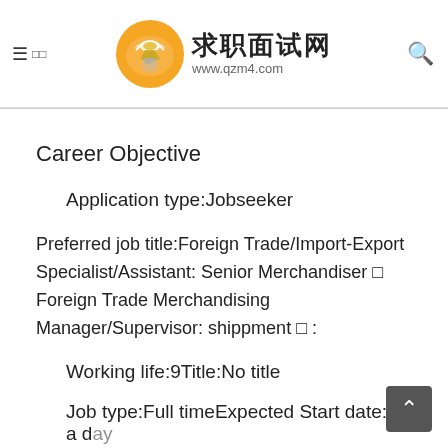求职面试网 www.qzm4.com
Career Objective
Application type:Jobseeker
Preferred job title:Foreign Trade/Import-Export Specialist/Assistant: Senior Merchandiser  Foreign Trade Merchandising Manager/Supervisor: shippment  :
Working life:9Title:No title
Job type:Full timeExpected Start date:In a day